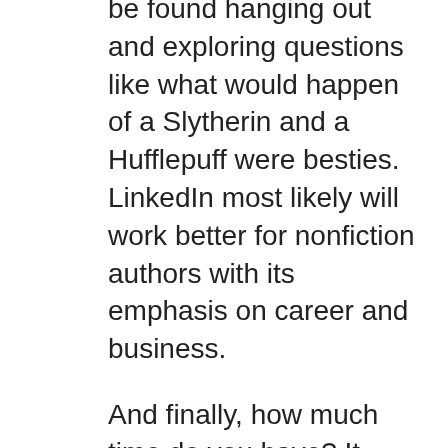be found hanging out and exploring questions like what would happen of a Slytherin and a Hufflepuff were besties. LinkedIn most likely will work better for nonfiction authors with its emphasis on career and business.
And finally, how much time do you have? It takes time to grow social media and to use the platform effectively. The better social media accounts actually interact with their followers. It doesn't matter what account you're on blasting buy my book posts from dawn to dusk isn't going to win friends or influence anyone.
If you'd like to learn more about author platforms and dive into this topic deeper, I do encourage you to register for my free event on Sunday 11/25. Don't worry, I'll offer a free replay if you miss it, and